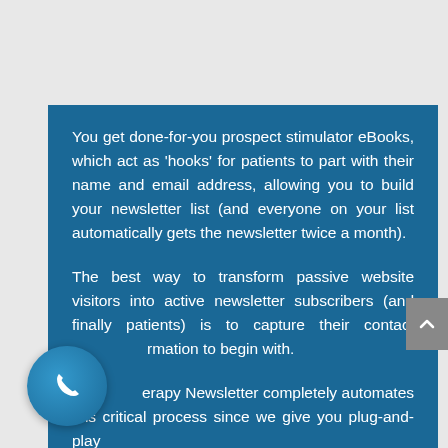You get done-for-you prospect stimulator eBooks, which act as 'hooks' for patients to part with their name and email address, allowing you to build your newsletter list (and everyone on your list automatically gets the newsletter twice a month).
The best way to transform passive website visitors into active newsletter subscribers (and finally patients) is to capture their contact information to begin with.
...erapy Newsletter completely automates this critical process since we give you plug-and-play